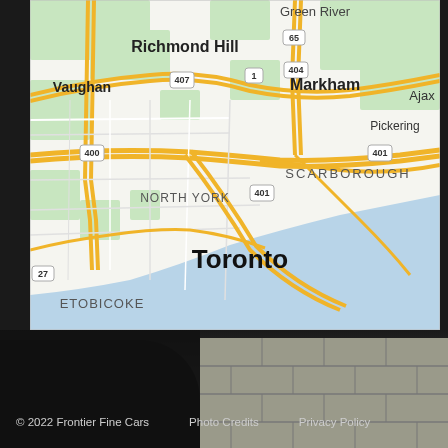[Figure (map): Google Maps screenshot showing Toronto and surrounding areas including Richmond Hill, Vaughan, Markham, Ajax, Pickering, Scarborough, North York, Etobicoke. Major highways shown: 400, 401, 404, 407, 27, 65, 1. Lake Ontario visible at bottom right.]
[Figure (photo): Dark blurred background photo showing a black-clad figure on the left side and a stone/brick wall on the right side.]
© 2022 Frontier Fine Cars   Photo Credits   Privacy Policy